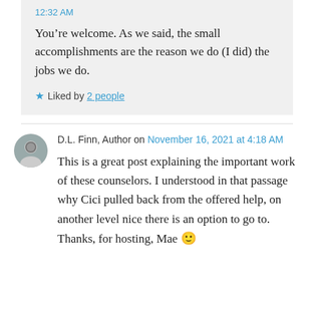12:32 AM
You’re welcome. As we said, the small accomplishments are the reason we do (I did) the jobs we do.
★ Liked by 2 people
D.L. Finn, Author on November 16, 2021 at 4:18 AM
This is a great post explaining the important work of these counselors. I understood in that passage why Cici pulled back from the offered help, on another level nice there is an option to go to.
Thanks, for hosting, Mae 🙂